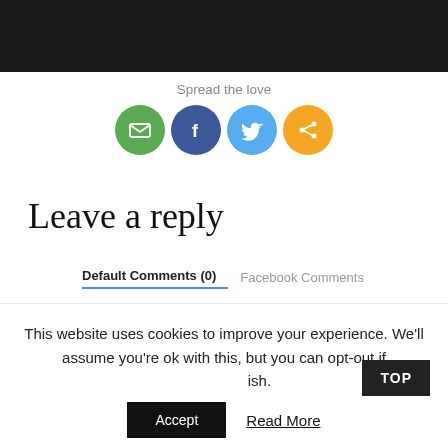[Figure (photo): Dark/black header image strip at top of page]
Spread the love
[Figure (infographic): Four social share icon circles: email (green), Facebook (blue), Twitter (light blue), share (orange)]
Leave a reply
Default Comments (0)   Facebook Comments
Your email address will not be published.
This website uses cookies to improve your experience. We'll assume you're ok with this, but you can opt-out if you wish.
Accept   Read More